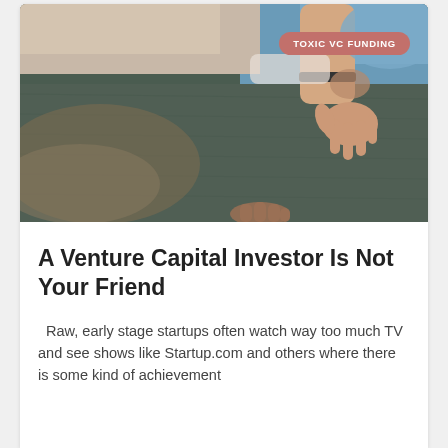[Figure (photo): Close-up photo of hands reaching toward the ground/carpet, shot from above. Person wearing blue and white clothing visible. Two hands visible reaching toward a textured dark green surface.]
TOXIC VC FUNDING
A Venture Capital Investor Is Not Your Friend
Raw, early stage startups often watch way too much TV and see shows like Startup.com and others where there is some kind of achievement